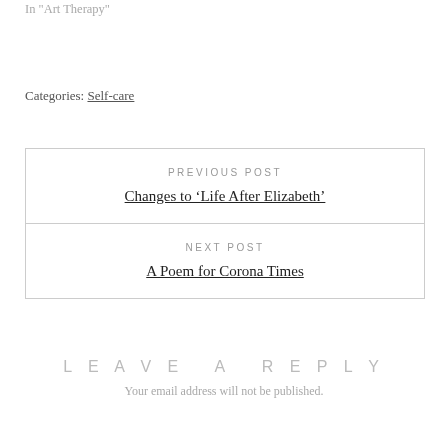In "Art Therapy"
Categories: Self-care
PREVIOUS POST
Changes to ‘Life After Elizabeth’
NEXT POST
A Poem for Corona Times
LEAVE A REPLY
Your email address will not be published.